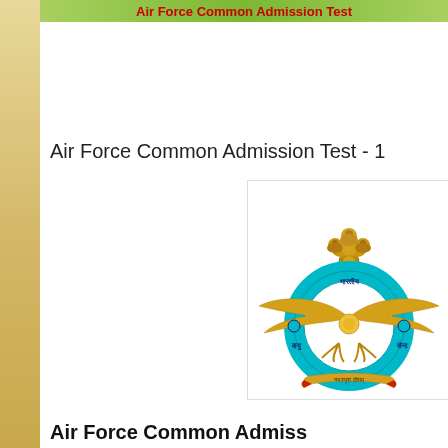Air Force Common Admission Test
Air Force Common Admission Test - 1
[Figure (logo): Indian Air Force emblem/crest featuring the Ashoka Lion Capital on top, a golden eagle with spread wings, a circular teal/cyan ring with Hindi text 'Bharatiya Vayu Sena' (Indian Air Force), and a scroll at the bottom]
Air Force Common Admiss